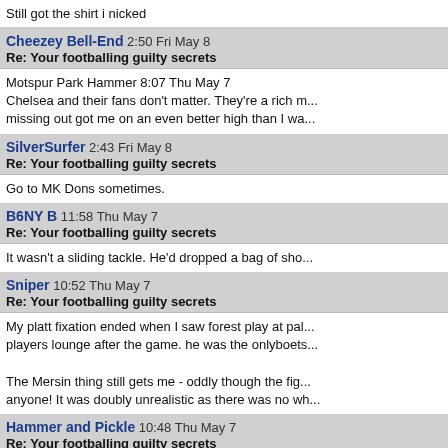Still got the shirt i nicked
Cheezey Bell-End 2:50 Fri May 8
Re: Your footballing guilty secrets
Motspur Park Hammer 8:07 Thu May 7
Chelsea and their fans don't matter. They're a rich m...
missing out got me on an even better high than I wa...
SilverSurfer 2:43 Fri May 8
Re: Your footballing guilty secrets
Go to MK Dons sometimes.
B6NY B 11:58 Thu May 7
Re: Your footballing guilty secrets
It wasn't a sliding tackle. He'd dropped a bag of sho...
Sniper 10:52 Thu May 7
Re: Your footballing guilty secrets
My platt fixation ended when I saw forest play at pal...
players lounge after the game. he was the onlyboets...
The Mersin thing still gets me - oddly though the fig...
anyone! It was doubly unrealistic as there was no wh...
Hammer and Pickle 10:48 Thu May 7
Re: Your footballing guilty secrets
That's harrowing stuff, snipe.